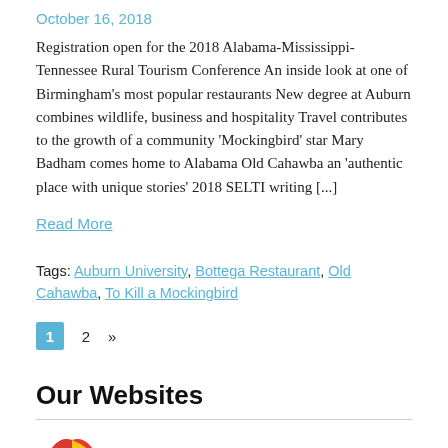October 16, 2018
Registration open for the 2018 Alabama-Mississippi-Tennessee Rural Tourism Conference An inside look at one of Birmingham's most popular restaurants New degree at Auburn combines wildlife, business and hospitality Travel contributes to the growth of a community 'Mockingbird' star Mary Badham comes home to Alabama Old Cahawba an 'authentic place with unique stories' 2018 SELTI writing [...]
Read More
Tags: Auburn University, Bottega Restaurant, Old Cahawba, To Kill a Mockingbird
1  2  »
Our Websites
Plan your trip to Alabama